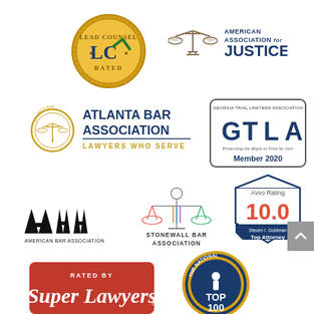[Figure (logo): Lead Counsel Rated gold seal badge with LC initials and green checkmark]
[Figure (logo): American Association for Justice logo with scales of justice icon]
[Figure (logo): Atlanta Bar Association logo - Lawyers Who Serve]
[Figure (logo): Georgia Trial Lawyers Association GTLA Member 2020 badge]
[Figure (logo): American Bar Association ABA logo]
[Figure (logo): Stonewall Bar Association logo with scales of justice]
[Figure (logo): Avvo Rating 10.0 Top Attorney Steven I. Goldman badge]
[Figure (logo): Rated by Super Lawyers red badge]
[Figure (logo): The National Top 100 gold medallion badge (partially visible)]